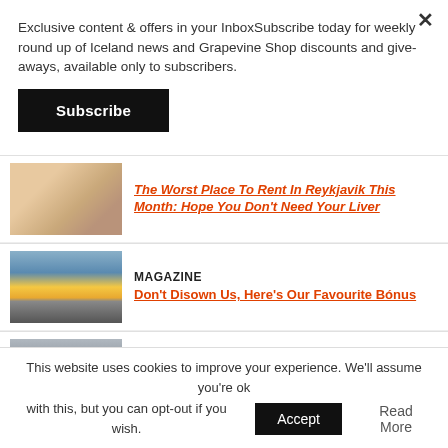Exclusive content & offers in your InboxSubscribe today for weekly round up of Iceland news and Grapevine Shop discounts and give-aways, available only to subscribers.
Subscribe
The Worst Place To Rent In Reykjavik This Month: Hope You Don't Need Your Liver
MAGAZINE
Don't Disown Us, Here's Our Favourite Bónus
NEWS
Volcano Briefing: Don't Walk On Lava, Children Allowed On Newly Completed Trail
This website uses cookies to improve your experience. We'll assume you're ok with this, but you can opt-out if you wish.
Accept
Read More